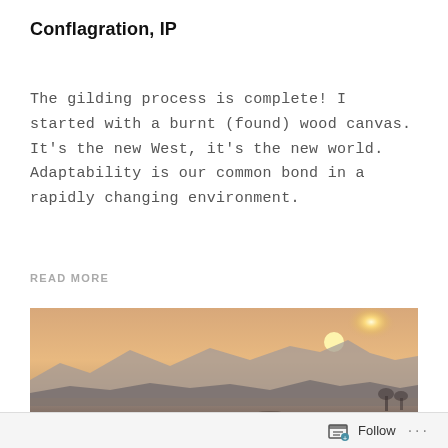Conflagration, IP
The gilding process is complete! I started with a burnt (found) wood canvas. It's the new West, it's the new world. Adaptability is our common bond in a rapidly changing environment.
READ MORE
[Figure (photo): A landscape photo showing a desert scene at sunset. Mountains are silhouetted against an orange and peach sky, with the sun setting behind the ridge. In the foreground is scrubby desert terrain with sparse vegetation and a dark figure.]
Follow ...